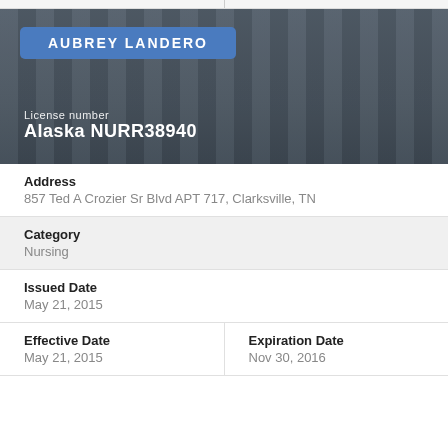[Figure (photo): Hero banner with blurred library shelves background, blue name badge reading AUBREY LANDERO, and license info text overlay]
Address
857 Ted A Crozier Sr Blvd APT 717, Clarksville, TN
Category
Nursing
Issued Date
May 21, 2015
Effective Date
May 21, 2015
Expiration Date
Nov 30, 2016